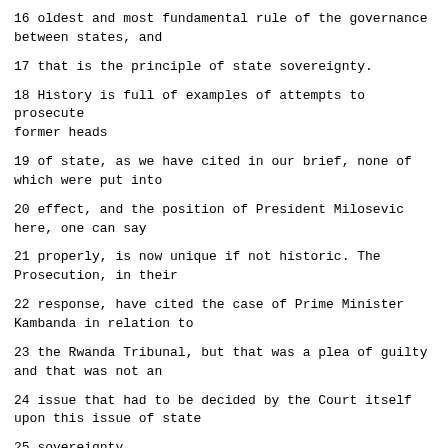16 oldest and most fundamental rule of the governance between states, and
17 that is the principle of state sovereignty.
18 History is full of examples of attempts to prosecute former heads
19 of state, as we have cited in our brief, none of which were put into
20 effect, and the position of President Milosevic here, one can say
21 properly, is now unique if not historic. The Prosecution, in their
22 response, have cited the case of Prime Minister Kambanda in relation to
23 the Rwanda Tribunal, but that was a plea of guilty and that was not an
24 issue that had to be decided by the Court itself upon this issue of state
25 sovereignty.
Page 41
1 As I said, the oldest and most fundamental principle that is the